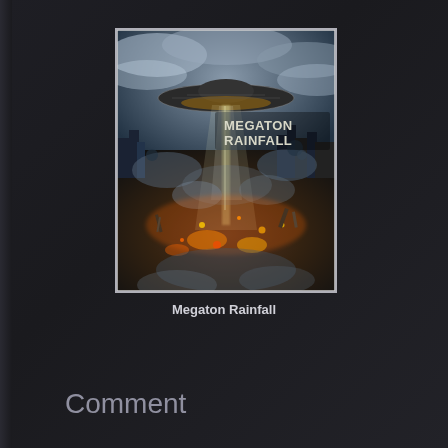[Figure (illustration): Game cover art for Megaton Rainfall showing a large flying saucer hovering over a destroyed city with chaos, explosions, smoke, and crowds below. The text MEGATON RAINFALL appears in bold dark letters in the upper right area of the cover.]
Megaton Rainfall
Comment